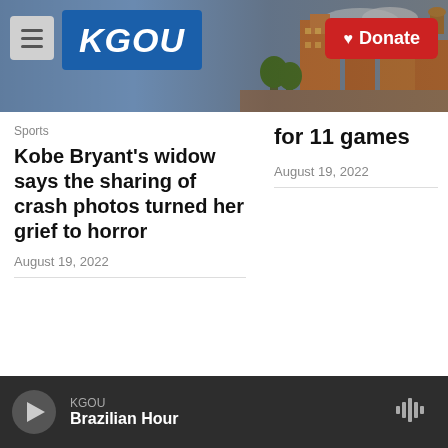[Figure (screenshot): KGOU website header with logo, hamburger menu, Donate button, and city skyline photo background]
for 11 games
Sports
Kobe Bryant's widow says the sharing of crash photos turned her grief to horror
August 19, 2022
August 19, 2022
Support nonprofit, public service journalism you trust. Give now. Whatever the news brings next, you'll help KGOU and NPR cover it.
KGOU Brazilian Hour